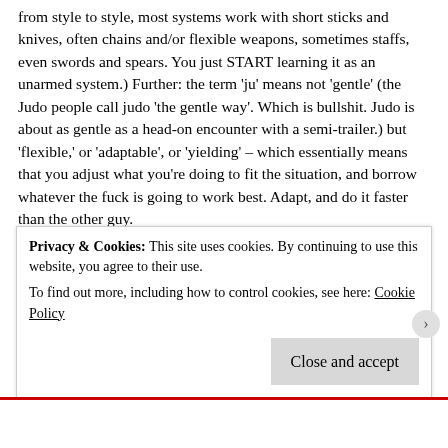from style to style, most systems work with short sticks and knives, often chains and/or flexible weapons, sometimes staffs, even swords and spears. You just START learning it as an unarmed system.) Further: the term 'ju' means not 'gentle' (the Judo people call judo 'the gentle way'. Which is bullshit. Judo is about as gentle as a head-on encounter with a semi-trailer.) but 'flexible,' or 'adaptable', or 'yielding' – which essentially means that you adjust what you're doing to fit the situation, and borrow whatever the fuck is going to work best. Adapt, and do it faster than the other guy.
So it's a huge art, and it's really hard to teach all of it. You do your best. You start by delivering basic techniques. Then you build on that. And then you start showing how the technique applies to combat – to attacks and weapons and different situations. How it changes at different distances and angles. How parts of it work
Privacy & Cookies: This site uses cookies. By continuing to use this website, you agree to their use.
To find out more, including how to control cookies, see here: Cookie Policy
Close and accept